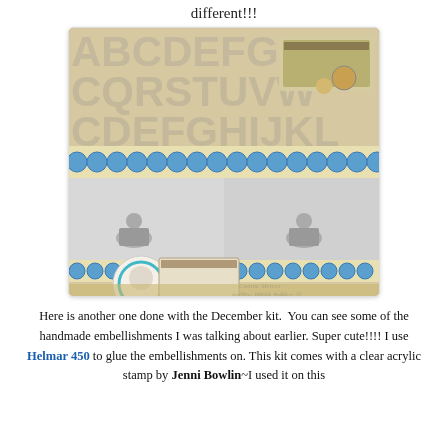different!!!
[Figure (photo): Scrapbook layout featuring alphabet letter paper background, two photos of a child sitting on a snowy/sandy ground (side by side), decorative blue circle patterned borders, and handmade embellishments including a circular medallion with a teal frame. Watermark reads 'Connie Mercer for The Paper Bakery'.]
Here is another one done with the December kit. You can see some of the handmade embellishments I was talking about earlier. Super cute!!!! I use Helmar 450 to glue the embellishments on. This kit comes with a clear acrylic stamp by Jenni Bowlin~I used it on this